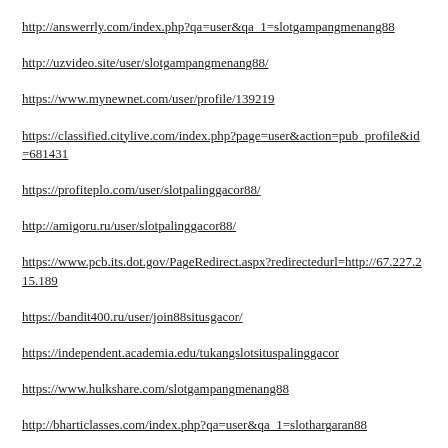http://answerrly.com/index.php?qa=user&qa_1=slotgampangmenang88
http://uzvideo.site/user/slotgampangmenang88/
https://www.mynewnet.com/user/profile/139219
https://classified.citylive.com/index.php?page=user&action=pub_profile&id=681431
https://profiteplo.com/user/slotpalinggacor88/
http://amigoru.ru/user/slotpalinggacor88/
https://www.pcb.its.dot.gov/PageRedirect.aspx?redirectedurl=http://67.227.215.189
https://bandit400.ru/user/join88situsgacor/
https://independent.academia.edu/tukangslotsituspalinggacor
https://www.hulkshare.com/slotgampangmenang88
http://bharticlasses.com/index.php?qa=user&qa_1=slothargaran88